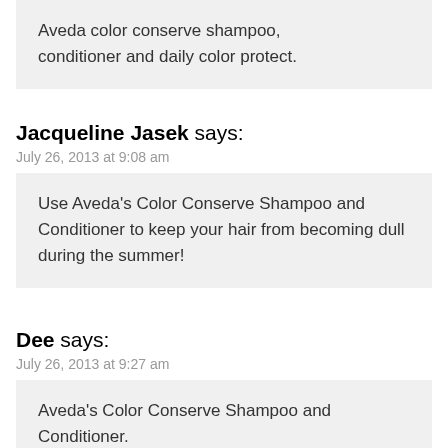Aveda color conserve shampoo, conditioner and daily color protect.
Jacqueline Jasek says:
July 26, 2013 at 9:08 am
Use Aveda's Color Conserve Shampoo and Conditioner to keep your hair from becoming dull during the summer!
Dee says:
July 26, 2013 at 9:27 am
Aveda's Color Conserve Shampoo and Conditioner.